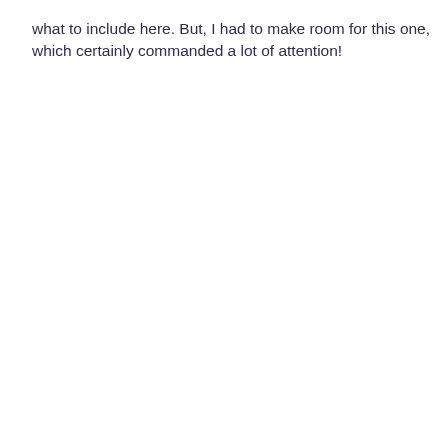what to include here. But, I had to make room for this one, which certainly commanded a lot of attention!